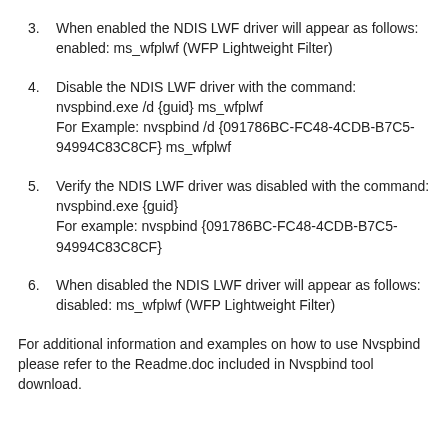3. When enabled the NDIS LWF driver will appear as follows:
enabled: ms_wfplwf (WFP Lightweight Filter)
4. Disable the NDIS LWF driver with the command: nvspbind.exe /d {guid} ms_wfplwf
For Example: nvspbind /d {091786BC-FC48-4CDB-B7C5-94994C83C8CF} ms_wfplwf
5. Verify the NDIS LWF driver was disabled with the command: nvspbind.exe {guid}
For example: nvspbind {091786BC-FC48-4CDB-B7C5-94994C83C8CF}
6. When disabled the NDIS LWF driver will appear as follows:
disabled: ms_wfplwf (WFP Lightweight Filter)
For additional information and examples on how to use Nvspbind please refer to the Readme.doc included in Nvspbind tool download.